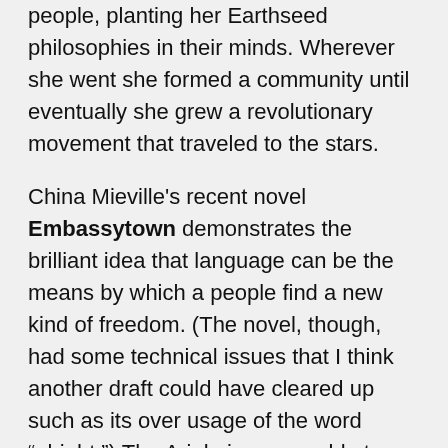people, planting her Earthseed philosophies in their minds. Wherever she went she formed a community until eventually she grew a revolutionary movement that traveled to the stars.
China Mieville's recent novel Embassytown demonstrates the brilliant idea that language can be the means by which a people find a new kind of freedom. (The novel, though, had some technical issues that I think another draft could have cleared up such as its over usage of the word “alright.”) The Ariekei were unable to express an untruth in Language. Even a metaphor was a difficult concept for them. Surl Tesh-echer, the first to develop the understanding of how to lie, was trying to bring revolutionary change his people. It was an accepted truth that “a lie was a performance; a simile was rhetoric: their synthesis, though, the first step in their becoming quite another trope, was sedition.” The ability to speak an